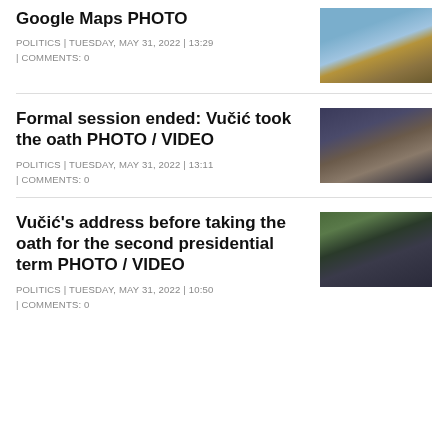Google Maps PHOTO
POLITICS | TUESDAY, MAY 31, 2022 | 13:29 | COMMENTS: 0
[Figure (photo): Photo of a church building with dome, stone architecture, blue sky with clouds]
Formal session ended: Vučić took the oath PHOTO / VIDEO
POLITICS | TUESDAY, MAY 31, 2022 | 13:11 | COMMENTS: 0
[Figure (photo): Photo of a man in a suit speaking at a podium in a formal chamber setting]
Vučić's address before taking the oath for the second presidential term PHOTO / VIDEO
POLITICS | TUESDAY, MAY 31, 2022 | 10:50 | COMMENTS: 0
[Figure (photo): Photo of a man in a suit standing outdoors among trees]